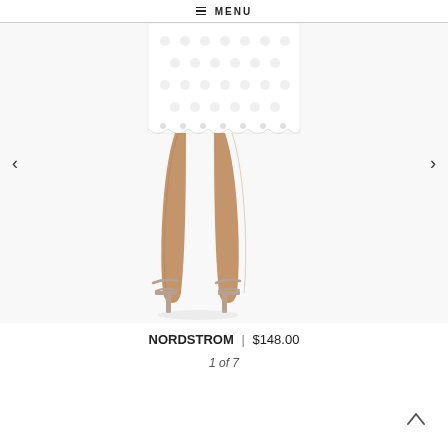≡ MENU
[Figure (photo): Product photo showing lower half of a model wearing a white eyelet/lace mini dress with scalloped hem, paired with nude ankle-strap heeled sandals, against a white background.]
NORDSTROM | $148.00
1 of 7